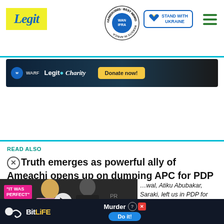Legit - WAN-IFRA 2021 Best News Website in Africa - Stand With Ukraine
[Figure (screenshot): Legit.ng website header with logo, WAN-IFRA 2021 Best News Website in Africa badge, Stand with Ukraine button, and hamburger menu]
[Figure (photo): Legit Charity banner with Donate now button]
READ ALSO
Truth emerges as powerful ally of Ameachi opens up on dumping APC for PDP
[Figure (screenshot): Video player overlay showing two people at an event with IT WAS PERFECT caption, play button, and partial article excerpt text about Atiku Abubakar, Saraki leaving PDP for APC]
[Figure (screenshot): BitLife mobile game advertisement with Murder and Do it! call to action]